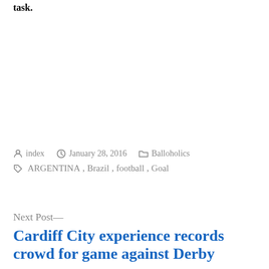task.
Posted by index  January 28, 2016  Balloholics  ARGENTINA, Brazil, football, Goal
Next Post—
Cardiff City experience records crowd for game against Derby